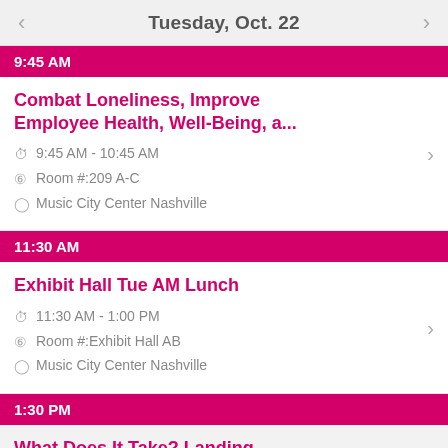Tuesday, Oct. 22
9:45 AM
Combat Loneliness, Improve Employee Health, Well-Being, a...
9:45 AM - 10:45 AM
Room #:209 A-C
Music City Center Nashville
11:30 AM
Exhibit Hall Tue AM Lunch
11:30 AM - 1:00 PM
Room #:Exhibit Hall AB
Music City Center Nashville
1:30 PM
What Does It Take? Landing